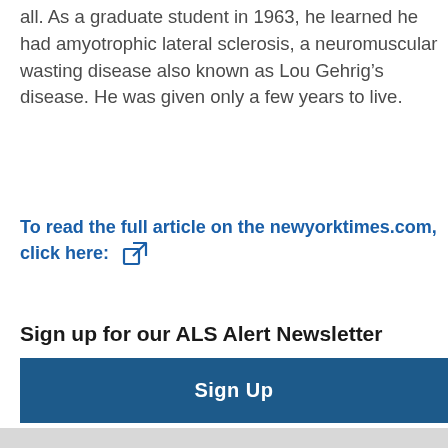all. As a graduate student in 1963, he learned he had amyotrophic lateral sclerosis, a neuromuscular wasting disease also known as Lou Gehrig's disease. He was given only a few years to live.
To read the full article on the newyorktimes.com, click here:
Sign up for our ALS Alert Newsletter